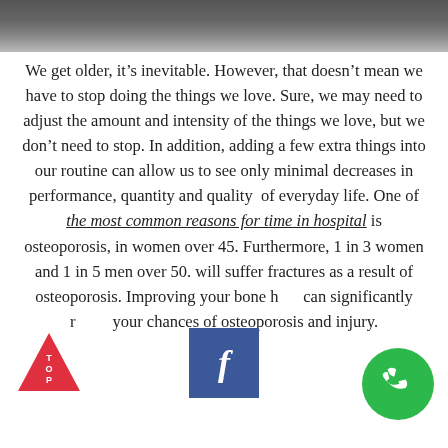[Figure (photo): Dark background image strip at the top of the page]
We get older, it’s inevitable. However, that doesn’t mean we have to stop doing the things we love. Sure, we may need to adjust the amount and intensity of the things we love, but we don’t need to stop. In addition, adding a few extra things into our routine can allow us to see only minimal decreases in performance, quantity and quality of everyday life. One of the most common reasons for time in hospital is osteoporosis, in women over 45. Furthermore, 1 in 3 women and 1 in 5 men over 50. will suffer fractures as a result of osteoporosis. Improving your bone health can significantly reduce your chances of osteoporosis and injury.
[Figure (logo): Red triangle TOP button in bottom left]
[Figure (logo): Facebook share button in bottom center]
[Figure (logo): Green phone/call button in bottom right]